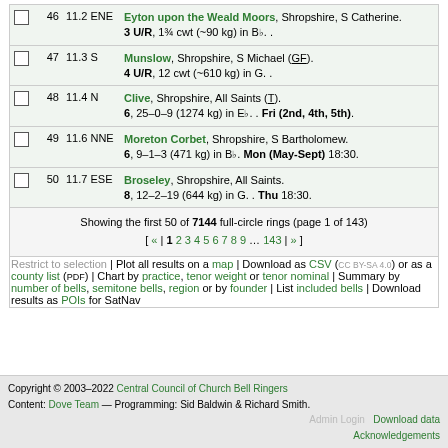46  11.2 ENE  Eyton upon the Weald Moors, Shropshire, S Catherine. 3 U/R, 1¾ cwt (~90 kg) in Bb. .
47  11.3 S  Munslow, Shropshire, S Michael (GF). 4 U/R, 12 cwt (~610 kg) in G. .
48  11.4 N  Clive, Shropshire, All Saints (T). 6, 25–0–9 (1274 kg) in Eb. . Fri (2nd, 4th, 5th).
49  11.6 NNE  Moreton Corbet, Shropshire, S Bartholomew. 6, 9–1–3 (471 kg) in Bb. Mon (May-Sept) 18:30.
50  11.7 ESE  Broseley, Shropshire, All Saints. 8, 12–2–19 (644 kg) in G.  Thu 18:30.
Showing the first 50 of 7144 full-circle rings (page 1 of 143)
[ « | 1 2 3 4 5 6 7 8 9 … 143 | » ]
Restrict to selection | Plot all results on a map | Download as CSV (cc BY-SA 4.0) or as a county list (PDF) | Chart by practice, tenor weight or tenor nominal | Summary by number of bells, semitone bells, region or by founder | List included bells | Download results as POIs for SatNav
Copyright © 2003–2022 Central Council of Church Bell Ringers
Content: Dove Team — Programming: Sid Baldwin & Richard Smith.
Admin Login  Download data  Acknowledgements